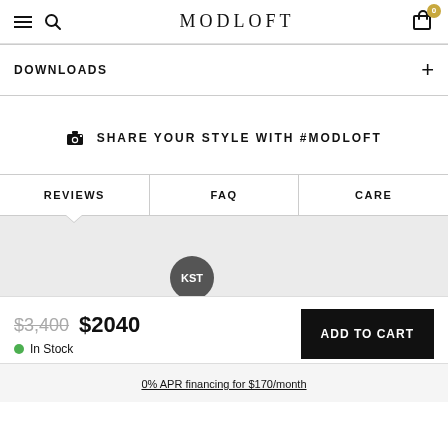MODLOFT
DOWNLOADS
SHARE YOUR STYLE WITH #MODLOFT
REVIEWS | FAQ | CARE
$3,400  $2040  In Stock
ADD TO CART
0% APR financing for $170/month